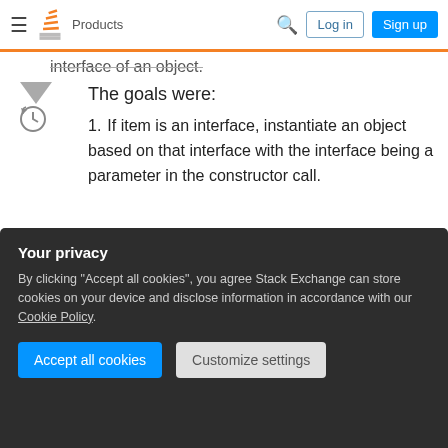≡  [Stack Overflow logo]  Products  🔍  Log in  Sign up
interface of an object.
The goals were:
1. If item is an interface, instantiate an object based on that interface with the interface being a parameter in the constructor call.
2. If the item is an object, return a null since the constuctor for my calls are expecting an interface and I didn't want the code to tank.
I achieved this with the following:
Your privacy
By clicking "Accept all cookies", you agree Stack Exchange can store cookies on your device and disclose information in accordance with our Cookie Policy.
Accept all cookies  Customize settings
else